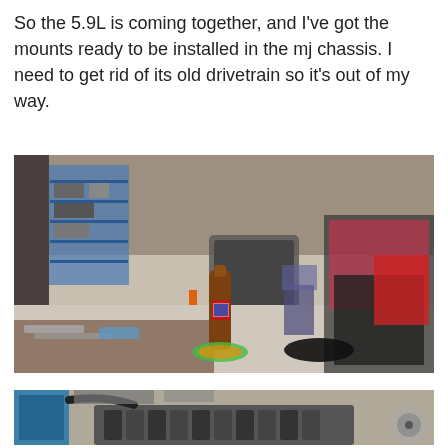So the 5.9L is coming together, and I've got the mounts ready to be installed in the mj chassis. I need to get rid of its old drivetrain so it's out of my way.
[Figure (photo): Interior of an automotive workshop/garage with various engine parts, tools, and equipment scattered around. An orange engine stand sits in the middle of the floor, and a Pabst Blue Ribbon beer bottle is prominently visible in the foreground on a worktable. Shelving with parts lines the back wall. A disassembled vehicle with exposed engine components is visible on the right side.]
[Figure (photo): Close-up view of a disassembled engine block in a workshop, showing the cylinder head area with hoses and engine components visible. Workshop shelving and parts are visible in the background.]